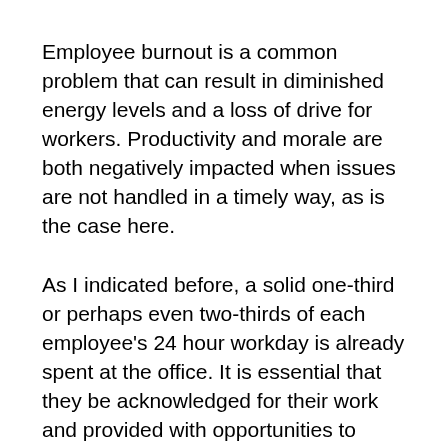Employee burnout is a common problem that can result in diminished energy levels and a loss of drive for workers. Productivity and morale are both negatively impacted when issues are not handled in a timely way, as is the case here.
As I indicated before, a solid one-third or perhaps even two-thirds of each employee's 24 hour workday is already spent at the office. It is essential that they be acknowledged for their work and provided with opportunities to spend time with their family.
The typical amount of time spent on vacation at our company is between two and